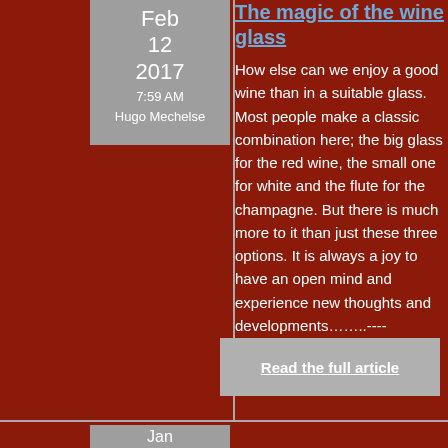Feb 12 2017 7:59 AM Hugo Mechelse
The magic of the wine glass
How else can we enjoy a good wine than in a suitable glass. Most people make a classic combination here; the big glass for the red wine, the small one for white and the flute for the champagne. But there is much more to it than just these three options. It is always a joy to have an open mind and experience new thoughts and developments……..----
Read the full article
Jan